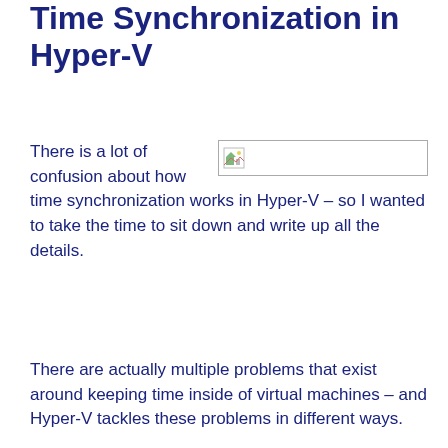Time Synchronization in Hyper-V
[Figure (screenshot): Broken/placeholder image icon in a bordered rectangle, representing an inline image that failed to load.]
There is a lot of confusion about how time synchronization works in Hyper-V – so I wanted to take the time to sit down and write up all the details.
There are actually multiple problems that exist around keeping time inside of virtual machines – and Hyper-V tackles these problems in different ways.